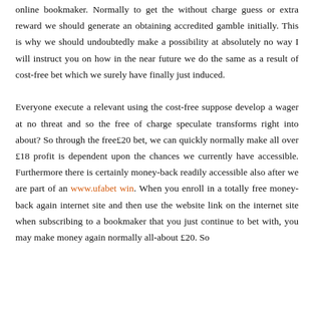online bookmaker. Normally to get the without charge guess or extra reward we should generate an obtaining accredited gamble initially. This is why we should undoubtedly make a possibility at absolutely no way I will instruct you on how in the near future we do the same as a result of cost-free bet which we surely have finally just induced.

Everyone execute a relevant using the cost-free suppose develop a wager at no threat and so the free of charge speculate transforms right into about? So through the free£20 bet, we can quickly normally make all over £18 profit is dependent upon the chances we currently have accessible. Furthermore there is certainly money-back readily accessible also after we are part of an www.ufabet win. When you enroll in a totally free money-back again internet site and then use the website link on the internet site when subscribing to a bookmaker that you just continue to bet with, you may make money again normally all-about £20. So